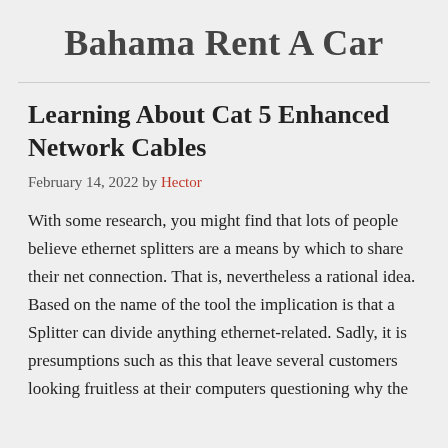Bahama Rent A Car
Learning About Cat 5 Enhanced Network Cables
February 14, 2022 by Hector
With some research, you might find that lots of people believe ethernet splitters are a means by which to share their net connection. That is, nevertheless a rational idea. Based on the name of the tool the implication is that a Splitter can divide anything ethernet-related. Sadly, it is presumptions such as this that leave several customers looking fruitless at their computers questioning why the